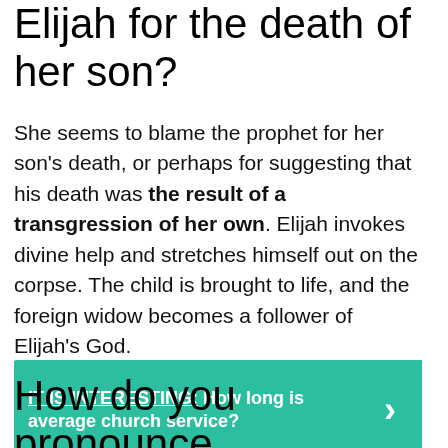Elijah for the death of her son?
She seems to blame the prophet for her son's death, or perhaps for suggesting that his death was the result of a transgression of her own. Elijah invokes divine help and stretches himself out on the corpse. The child is brought to life, and the foreign widow becomes a follower of Elijah's God.
IT IS INTERESTING: How long is average church service?
How do you pronounce shunammite?